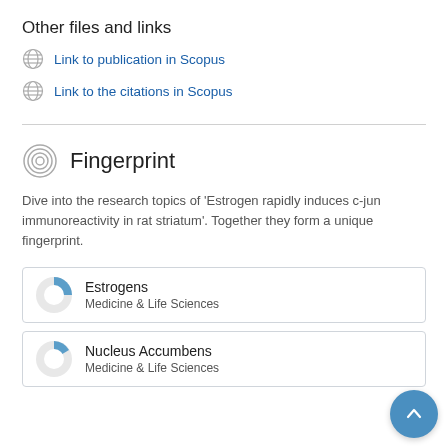Other files and links
Link to publication in Scopus
Link to the citations in Scopus
Fingerprint
Dive into the research topics of 'Estrogen rapidly induces c-jun immunoreactivity in rat striatum'. Together they form a unique fingerprint.
Estrogens
Medicine & Life Sciences
Nucleus Accumbens
Medicine & Life Sciences